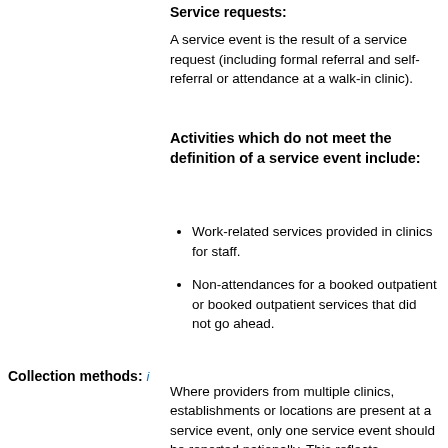Service requests:
A service event is the result of a service request (including formal referral and self-referral or attendance at a walk-in clinic).
Activities which do not meet the definition of a service event include:
Work-related services provided in clinics for staff.
Non-attendances for a booked outpatient or booked outpatient services that did not go ahead.
Collection methods: i
Where providers from multiple clinics, establishments or locations are present at a service event, only one service event should be reported nationally. This reflects